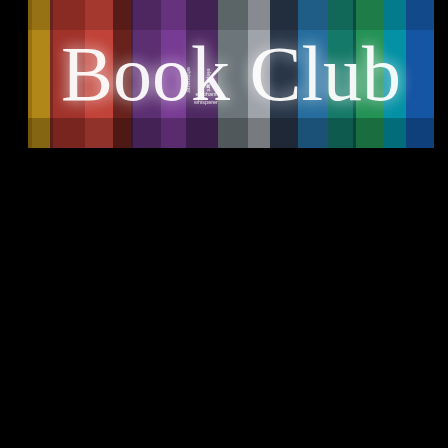[Figure (photo): A banner image showing colorful book spines arranged on a shelf, with a white cursive 'Book Club' text overlaid on top. The books show various colors including yellow, red, purple, grey, blue, and green. One visible title reads 'The Elephant Whisperer'. Below the banner is a solid black area filling the rest of the page.]